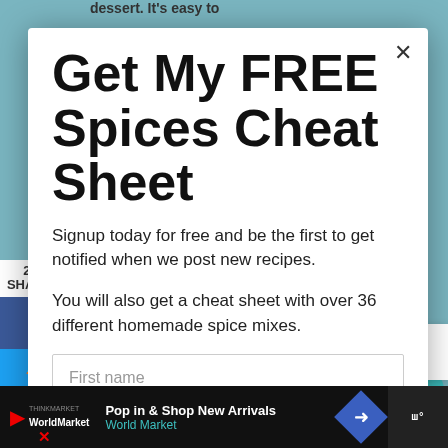Get My FREE Spices Cheat Sheet
Signup today for free and be the first to get notified when we post new recipes.
You will also get a cheat sheet with over 36 different homemade spice mixes.
First name
239 SHARES
239
245
WHAT'S NEXT → Mojito Cupcakes – ...
Pop in & Shop New Arrivals
World Market